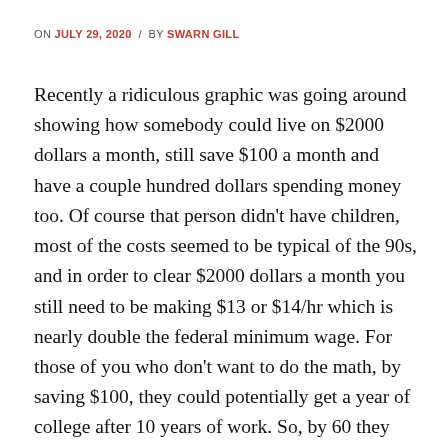ON JULY 29, 2020 / BY SWARN GILL
Recently a ridiculous graphic was going around showing how somebody could live on $2000 dollars a month, still save $100 a month and have a couple hundred dollars spending money too. Of course that person didn't have children, most of the costs seemed to be typical of the 90s, and in order to clear $2000 dollars a month you still need to be making $13 or $14/hr which is nearly double the federal minimum wage. For those of you who don't want to do the math, by saving $100, they could potentially get a year of college after 10 years of work. So, by 60 they could have their bachelor's degree and maybe move up in the world.